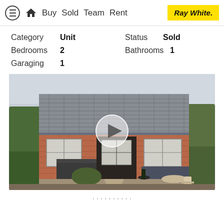Buy  Sold  Team  Rent  Ray White.
Category  Unit    Status  Sold
Bedrooms  2    Bathrooms 1
Garaging  1
[Figure (photo): Exterior photo of a brick bungalow with tiled roof, garden hedges, outdoor seating area and storage box. A video play button overlay is centered on the image.]
...